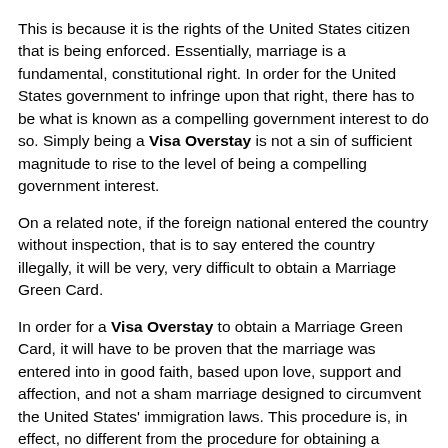This is because it is the rights of the United States citizen that is being enforced.  Essentially, marriage is a fundamental, constitutional right.  In order for the United States government to infringe upon that right, there has to be what is known as a compelling government interest to do so.  Simply being a Visa Overstay is not a sin of sufficient magnitude to rise to the level of being a compelling government interest.
On a related note, if the foreign national entered the country without inspection, that is to say entered the country illegally, it will be very, very difficult to obtain a Marriage Green Card.
In order for a Visa Overstay to obtain a Marriage Green Card, it will have to be proven that the marriage was entered into in good faith, based upon love, support and affection, and not a sham marriage designed to circumvent the United States' immigration laws.  This procedure is, in effect, no different from the procedure for obtaining a Marriage Green